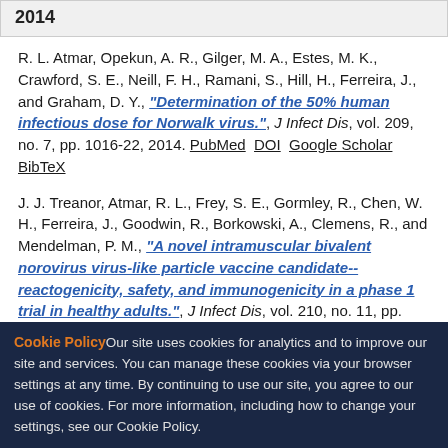2014
R. L. Atmar, Opekun, A. R., Gilger, M. A., Estes, M. K., Crawford, S. E., Neill, F. H., Ramani, S., Hill, H., Ferreira, J., and Graham, D. Y., "Determination of the 50% human infectious dose for Norwalk virus.", J Infect Dis, vol. 209, no. 7, pp. 1016-22, 2014. PubMed DOI Google Scholar BibTeX
J. J. Treanor, Atmar, R. L., Frey, S. E., Gormley, R., Chen, W. H., Ferreira, J., Goodwin, R., Borkowski, A., Clemens, R., and Mendelman, P. M., "A novel intramuscular bivalent norovirus virus-like particle vaccine candidate--reactogenicity, safety, and immunogenicity in a phase 1 trial in healthy adults.", J Infect Dis, vol. 210, no. 11, pp. 1763-71, 2014. PubMed DOI Google Scholar BibTeX
Cookie Policy Our site uses cookies for analytics and to improve our site and services. You can manage these cookies via your browser settings at any time. By continuing to use our site, you agree to our use of cookies. For more information, including how to change your settings, see our Cookie Policy.